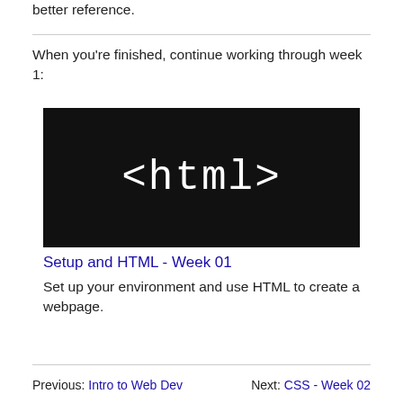better reference.
When you're finished, continue working through week 1:
[Figure (screenshot): Black rectangle containing white monospace text reading '<html>']
Setup and HTML - Week 01
Set up your environment and use HTML to create a webpage.
Previous: Intro to Web Dev    Next: CSS - Week 02